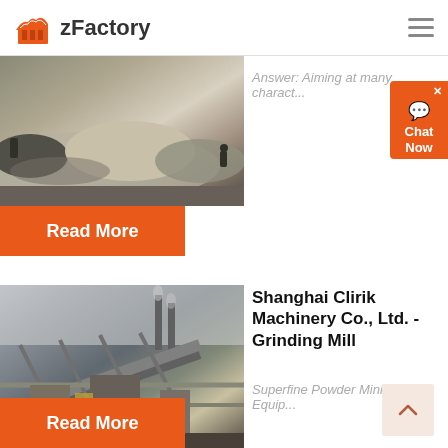zFactory
[Figure (photo): Aerial view of a mining/quarry site with sand and gravel piles]
Answer: Aiming at many charact...
Read More
[Figure (photo): Industrial mining or crushing facility with large metal framework structures and chimneys]
Shanghai Clirik Machinery Co., Ltd. - Grinding Mill
Superfine Powder Mining Equip...
Read More